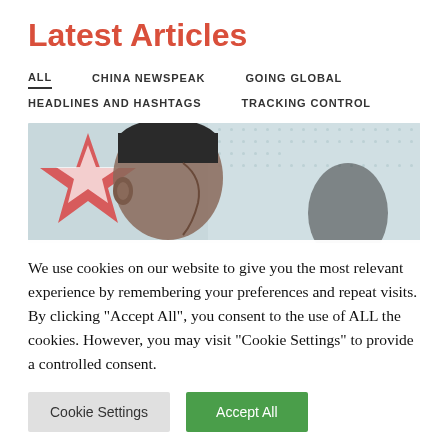Latest Articles
ALL   CHINA NEWSPEAK   GOING GLOBAL   HEADLINES AND HASHTAGS   TRACKING CONTROL
[Figure (photo): A close-up photograph of a person in profile, with a partial red star overlay in the background and a dotted grey pattern to the right.]
We use cookies on our website to give you the most relevant experience by remembering your preferences and repeat visits. By clicking "Accept All", you consent to the use of ALL the cookies. However, you may visit "Cookie Settings" to provide a controlled consent.
Cookie Settings   Accept All